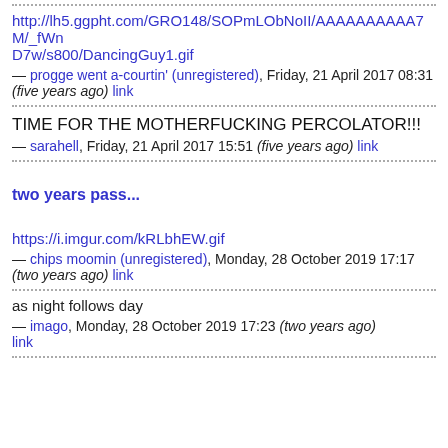http://lh5.ggpht.com/GRO148/SOPmLObNoII/AAAAAAAAAA7M/_fWnD7w/s800/DancingGuy1.gif
— progge went a-courtin' (unregistered), Friday, 21 April 2017 08:31 (five years ago) link
TIME FOR THE MOTHERFUCKING PERCOLATOR!!!
— sarahell, Friday, 21 April 2017 15:51 (five years ago) link
two years pass...
https://i.imgur.com/kRLbhEW.gif
— chips moomin (unregistered), Monday, 28 October 2019 17:17 (two years ago) link
as night follows day
— imago, Monday, 28 October 2019 17:23 (two years ago) link